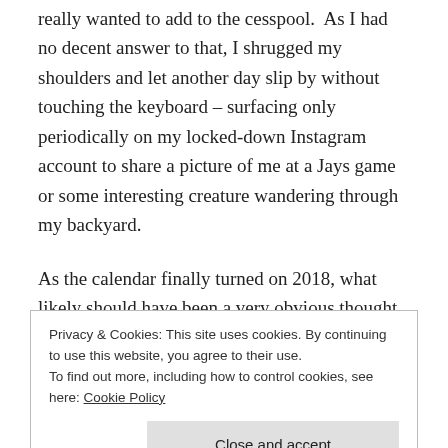really wanted to add to the cesspool.  As I had no decent answer to that, I shrugged my shoulders and let another day slip by without touching the keyboard – surfacing only periodically on my locked-down Instagram account to share a picture of me at a Jays game or some interesting creature wandering through my backyard.
As the calendar finally turned on 2018, what likely should have been a very obvious thought struck my addled brain:  whoever said you had to add to the cesspool?  Why such a hopelessly
Privacy & Cookies: This site uses cookies. By continuing to use this website, you agree to their use.
To find out more, including how to control cookies, see here: Cookie Policy
Close and accept
telling you that you must weigh in on the pitiable